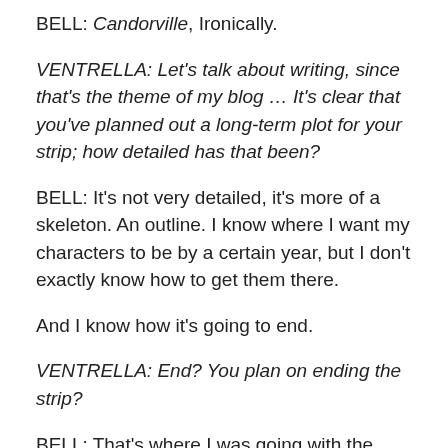BELL: Candorville, Ironically.
VENTRELLA: Let's talk about writing, since that's the theme of my blog … It's clear that you've planned out a long-term plot for your strip; how detailed has that been?
BELL: It's not very detailed, it's more of a skeleton. An outline. I know where I want my characters to be by a certain year, but I don't exactly know how to get them there.
And I know how it's going to end.
VENTRELLA: End? You plan on ending the strip?
BELL: That's where I was going with the Babylon 5 reference. The reason Straczynski never painted himself into a corner, the reason he was able to blast through the